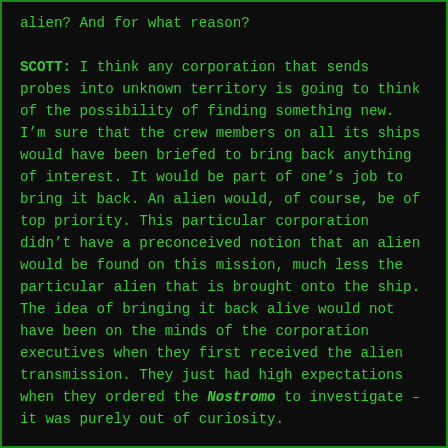alien? And for what reason?
SCOTT: I think any corporation that sends probes into unknown territory is going to think of the possibility of finding something new. I’m sure that the crew members on all its ships would have been briefed to bring back anything of interest. It would be part of one’s job to bring it back. An alien would, of course, be of top priority. This particular corporation didn’t have a preconceived notion that an alien would be found on this mission, much less the particular alien that is brought onto the ship. The idea of bringing it back alive would not have been on the minds of the corporation executives when they first received the alien transmission. They just had high expectations when they ordered the Nostromo to investigate – it was purely out of curiosity.